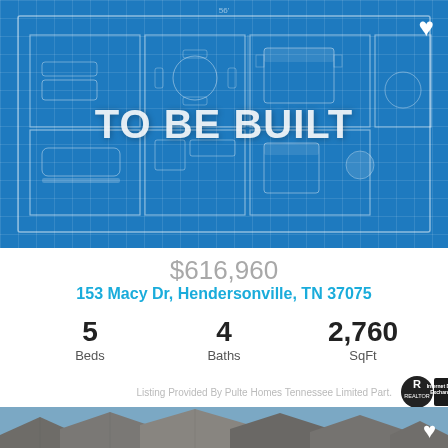[Figure (schematic): Blueprint floor plan of a house with text overlay 'TO BE BUILT' and a heart icon in the top right corner]
$616,960
153 Macy Dr, Hendersonville, TN 37075
5 Beds
4 Baths
2,760 SqFt
Listing Provided By Pulte Homes Tennessee Limited Part.
[Figure (photo): Partial photo of house rooftops with a heart icon in the bottom right corner]